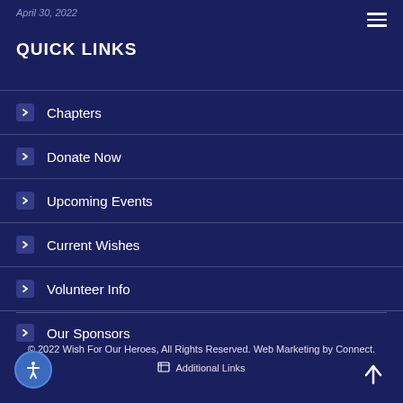April 30, 2022
QUICK LINKS
Chapters
Donate Now
Upcoming Events
Current Wishes
Volunteer Info
Our Sponsors
© 2022 Wish For Our Heroes, All Rights Reserved. Web Marketing by Connect.
Additional Links